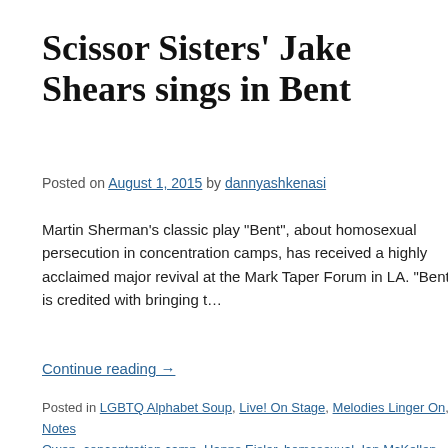Scissor Sisters' Jake Shears sings in Bent
Posted on August 1, 2015 by dannyashkenasi
Martin Sherman's classic play “Bent”, about homosexual persecution in concentration camps, has received a highly acclaimed major revival at the Mark Taper Forum in LA. “Bent” is credited with bringing t…
Continue reading →
Posted in LGBTQ Alphabet Soup, Live! On Stage, Melodies Linger On, Notes Owen, concentration camp, Hanns Eisler, homosexual, Ian McKellen, Jake S Taper Forum, Martin Sherman, Mick Jagger, Moises Kaufman, Nazi, persecu Scissor Sisters, Streets of Berlin, The Cradle Will Rock | Leave a comment